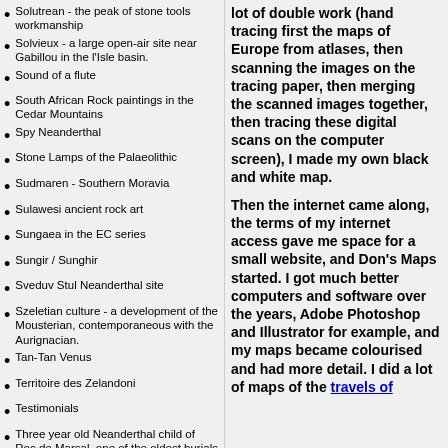Solutrean - the peak of stone tools workmanship
Solvieux - a large open-air site near Gabillou in the l'Isle basin.
Sound of a flute
South African Rock paintings in the Cedar Mountains
Spy Neanderthal
Stone Lamps of the Palaeolithic
Sudmaren - Southern Moravia
Sulawesi ancient rock art
Sungaea in the EC series
Sungir / Sunghir
Sveduv Stul Neanderthal site
Szeletian culture - a development of the Mousterian, contemporaneous with the Aurignacian.
Tan-Tan Venus
Territoire des Zelandoni
Testimonials
Three year old Neanderthal child of Roc de Marsal, one of the oldest burials of the Perigord
Thunderbolt's Lookout
Tools, Shells and Bones from Lake Mungo in Australia
Tools from the stone age
Tools from the stone age - index
lot of double work (hand tracing first the maps of Europe from atlases, then scanning the images on the tracing paper, then merging the scanned images together, then tracing these digital scans on the computer screen), I made my own black and white map.
Then the internet came along, the terms of my internet access gave me space for a small website, and Don's Maps started. I got much better computers and software over the years, Adobe Photoshop and Illustrator for example, and my maps became colourised and had more detail. I did a lot of maps of the travels of